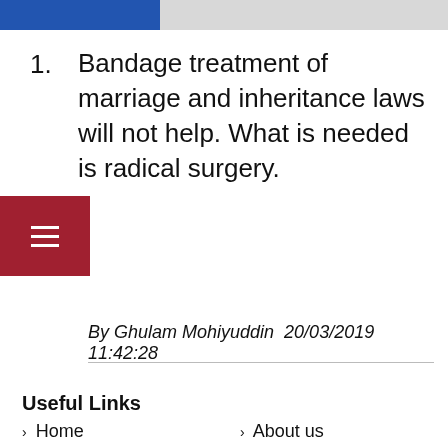Bandage treatment of marriage and inheritance laws will not help. What is needed is radical surgery.
By Ghulam Mohiyuddin  20/03/2019 11:42:28
Useful Links
> Home
> About us
> Contact us
> Archives
> Books
> Debate
> Dictionary
> Disclaimer